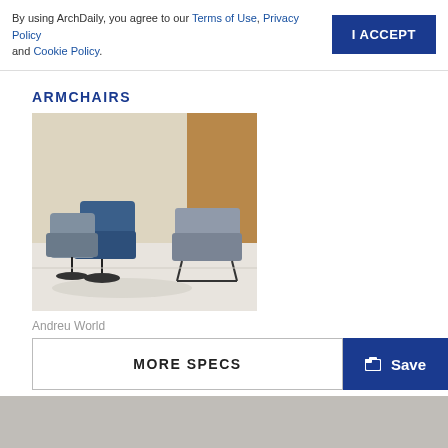By using ArchDaily, you agree to our Terms of Use, Privacy Policy and Cookie Policy.
I ACCEPT
ARMCHAIRS
[Figure (photo): Two modern lounge chairs in a minimalist room: two blue/grey swivel chairs on the left and a grey sled-base chair on the right, against beige and tan walls.]
Andreu World
Lounge Chair - Capri Lounge
MORE SPECS
Save